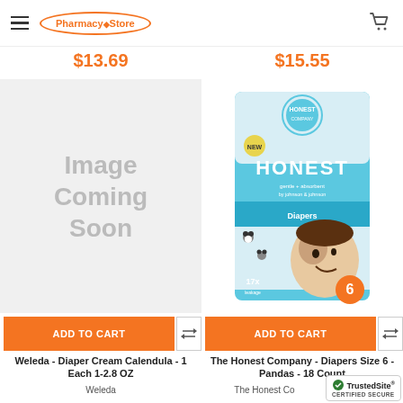PharmacyStore navigation header with logo and cart
$13.69
$15.55
[Figure (illustration): Image Coming Soon placeholder on left product slot]
[Figure (photo): The Honest Company Diapers Size 6 Pandas product photo showing teal packaging with baby and panda prints]
ADD TO CART
ADD TO CART
Weleda - Diaper Cream Calendula - 1 Each 1-2.8 OZ
Weleda
The Honest Company - Diapers Size 6 - Pandas - 18 Count
The Honest Co
[Figure (logo): TrustedSite CERTIFIED SECURE badge]